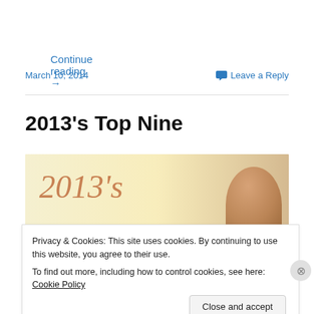Continue reading →
March 10, 2014
Leave a Reply
2013's Top Nine
[Figure (photo): Blog post header image showing '2013's' text in italic cursive orange/red font against a warm yellow-cream background, with a person's head silhouette on the right.]
Privacy & Cookies: This site uses cookies. By continuing to use this website, you agree to their use.
To find out more, including how to control cookies, see here: Cookie Policy
Close and accept